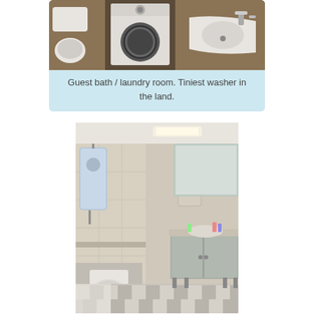[Figure (photo): Photo of a small guest bathroom and laundry room with a tiny front-loading washing machine, toilet, and corner sink.]
Guest bath / laundry room. Tiniest washer in the land.
[Figure (photo): Photo of a larger bathroom with tiled walls, a toilet, bidet, vanity with mirror, and checkered tile floor.]